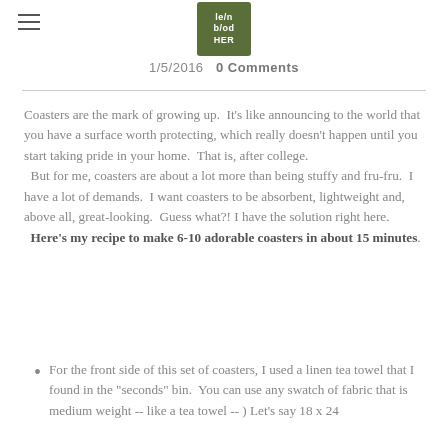le/n/od/HER logo and hamburger menu
1/5/2016   0 Comments
Coasters are the mark of growing up.  It's like announcing to the world that you have a surface worth protecting, which really doesn't happen until you start taking pride in your home.  That is, after college.
  But for me, coasters are about a lot more than being stuffy and fru-fru.  I have a lot of demands.  I want coasters to be absorbent, lightweight and, above all, great-looking.  Guess what?! I have the solution right here.  Here's my recipe to make 6-10 adorable coasters in about 15 minutes.
For the front side of this set of coasters, I used a linen tea towel that I found in the "seconds" bin.  You can use any swatch of fabric that is medium weight -- like a tea towel -- ) Let's say 18 x 24